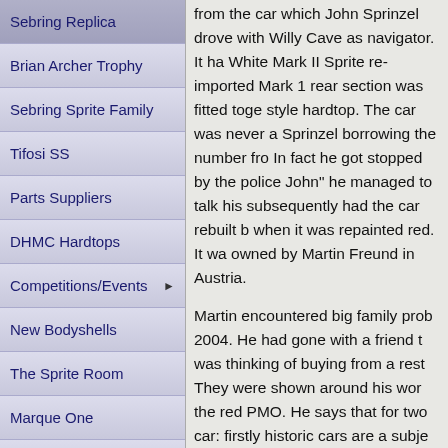Sebring Replica
Brian Archer Trophy
Sebring Sprite Family
Tifosi SS
Parts Suppliers
DHMC Hardtops
Competitions/Events
New Bodyshells
The Sprite Room
Marque One
Personalities
Technical
from the car which John Sprinzel drove with Willy Cave as navigator. It ha White Mark II Sprite re-imported Mark 1 rear section was fitted toge style hardtop. The car was never a Sprinzel borrowing the number fro In fact he got stopped by the police John" he managed to talk his subsequently had the car rebuilt b when it was repainted red. It wa owned by Martin Freund in Austria.
Martin encountered big family prob 2004. He had gone with a friend t was thinking of buying from a rest They were shown around his wor the red PMO. He says that for two car: firstly historic cars are a subje issued an order "Sell some cars more". Secondly he already had in he drives every year in the En